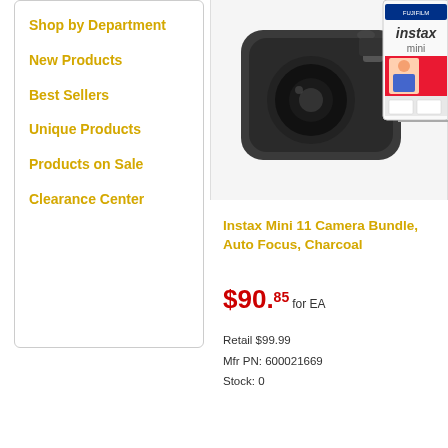Shop by Department
New Products
Best Sellers
Unique Products
Products on Sale
Clearance Center
[Figure (photo): Instax Mini 11 Camera Bundle product photo showing a charcoal instant camera and film box]
Instax Mini 11 Camera Bundle, Auto Focus, Charcoal
$90.85 for EA
Retail $99.99
Mfr PN: 600021669
Stock: 0
[Figure (photo): Instax product partial view (second product, 16 MP)]
Instax... 16 MP
$13...
Retail S...
Mfr PN:...
Stock: 0
Items 1- 2 of 2 total
View:
Don't Miss a Deal or Special Offer!
Get Email Savings and Updates:
Enter Your Email Address
Sig
See our privacy policy.
About Us · Contact Us · Customer Service & H...